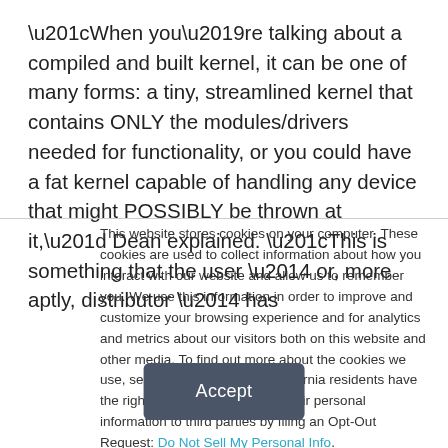“When you’re talking about a compiled and built kernel, it can be one of many forms: a tiny, streamlined kernel that contains ONLY the modules/drivers needed for functionality, or you could have a fat kernel capable of handling any device that might POSSIBLY be thrown at it,” Dean explained. “This is something that the user — or, more aptly, distributor — has
This website stores cookies on your computer. These cookies are used to collect information about how you interact with our website and allow us to remember you. We use this information in order to improve and customize your browsing experience and for analytics and metrics about our visitors both on this website and other media. To find out more about the cookies we use, see our Privacy Policy. California residents have the right to direct us not to sell their personal information to third parties by filing an Opt-Out Request: Do Not Sell My Personal Info.